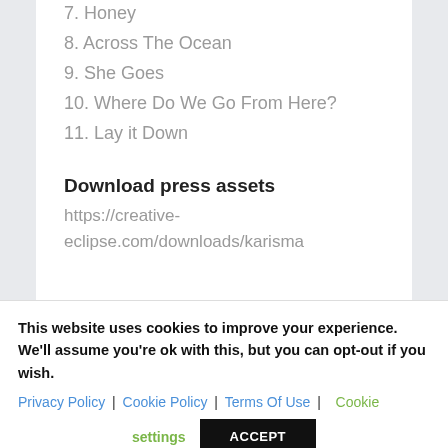7. Honey
8. Across The Ocean
9. She Goes
10. Where Do We Go From Here?
11. Lay it Down
Download press assets
https://creative-eclipse.com/downloads/karisma
This website uses cookies to improve your experience. We'll assume you're ok with this, but you can opt-out if you wish.
Privacy Policy | Cookie Policy | Terms Of Use | Cookie settings   ACCEPT